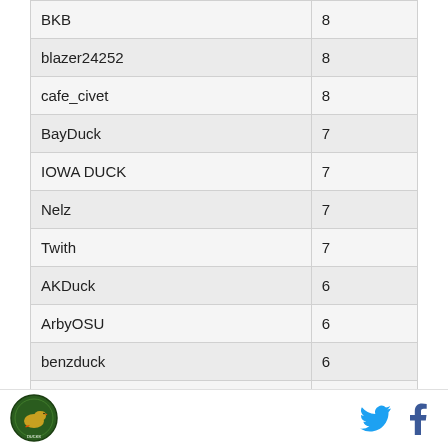| BKB | 8 |
| blazer24252 | 8 |
| cafe_civet | 8 |
| BayDuck | 7 |
| IOWA DUCK | 7 |
| Nelz | 7 |
| Twith | 7 |
| AKDuck | 6 |
| ArbyOSU | 6 |
| benzduck | 6 |
| Bicycle Rider | 6 |
[Figure (logo): Circular green Oregon Ducks style logo with duck image]